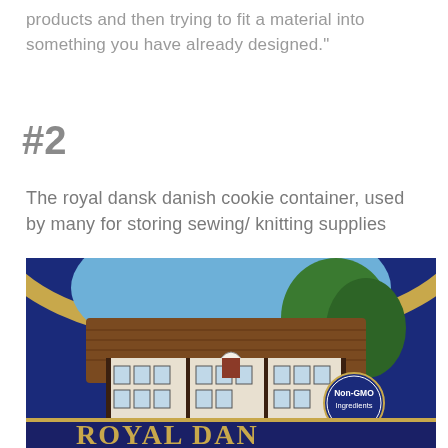products and then trying to fit a material into something you have already designed."
#2
The royal dansk danish cookie container, used by many for storing sewing/ knitting supplies
[Figure (photo): Close-up photo of a Royal Dansk Danish cookie tin lid, showing a blue tin with gold trim, an illustrated farmhouse/cottage scene, a 'Non-GMO Ingredients' circular badge, and the text 'ROYAL DAN' visible at the bottom.]